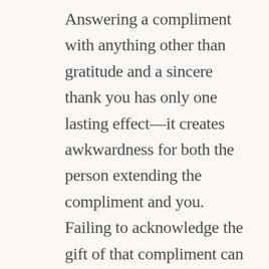Answering a compliment with anything other than gratitude and a sincere thank you has only one lasting effect—it creates awkwardness for both the person extending the compliment and you. Failing to acknowledge the gift of that compliment can help you be seen as ungrateful, lacking confidence, and worst of all unappreciative. From your vantage point, how confident can you really feel about yourself when you